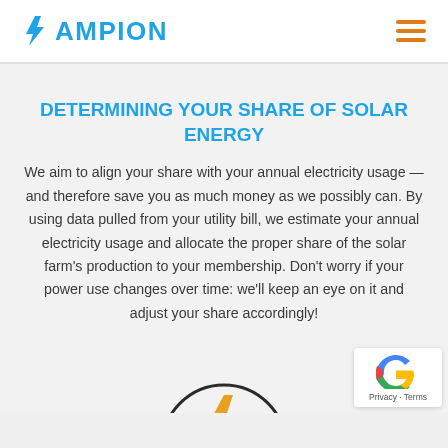AMPION
DETERMINING YOUR SHARE OF SOLAR ENERGY
We aim to align your share with your annual electricity usage — and therefore save you as much money as we possibly can. By using data pulled from your utility bill, we estimate your annual electricity usage and allocate the proper share of the solar farm's production to your membership. Don't worry if your power use changes over time: we'll keep an eye on it and adjust your share accordingly!
[Figure (illustration): Partial circle icon with a lightning bolt symbol, partially visible at the bottom of the page]
[Figure (logo): reCAPTCHA badge with Privacy and Terms text]